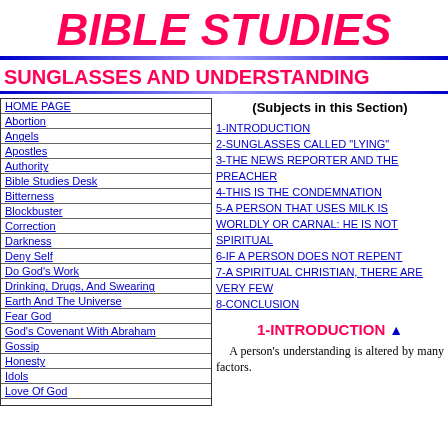BIBLE STUDIES
SUNGLASSES AND UNDERSTANDING
HOME PAGE
Abortion
Angels
Apostles
Authority
Bible Studies Desk
Bitterness
Blockbuster
Correction
Darkness
Deny Self
Do God's Work
Drinking, Drugs, And Swearing
Earth And The Universe
Fear God
God's Covenant With Abraham
Gossip
Honesty
Idols
Love Of God
(Subjects in this Section)
1-INTRODUCTION
2-SUNGLASSES CALLED "LYING"
3-THE NEWS REPORTER AND THE PREACHER
4-THIS IS THE CONDEMNATION
5-A PERSON THAT USES MILK IS WORLDLY OR CARNAL: HE IS NOT SPIRITUAL
6-IF A PERSON DOES NOT REPENT
7-A SPIRITUAL CHRISTIAN, THERE ARE VERY FEW
8-CONCLUSION
1-INTRODUCTION
A person's understanding is altered by many factors.